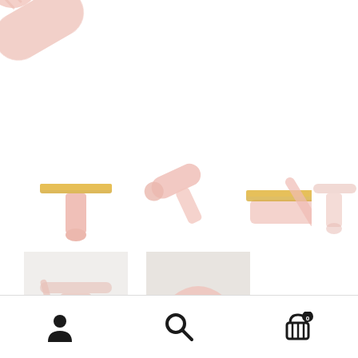[Figure (photo): E-commerce product page screenshot showing a pink beauty tool (face massager/trimmer) device with ribbed handle. The main image shows a close-up of the pink device handle from the top portion. Below are 6 thumbnail images showing various angles and details of the pink product. At the bottom is a navigation bar with user/account icon, search icon, and shopping cart icon with badge showing 0.]